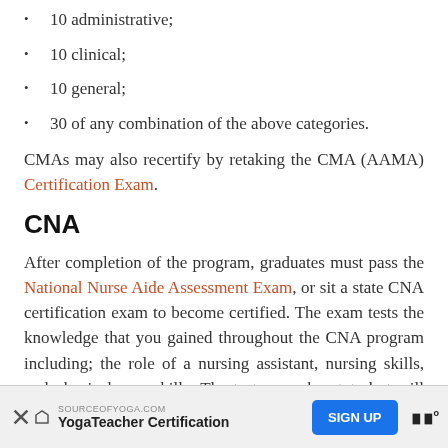10 administrative;
10 clinical;
10 general;
30 of any combination of the above categories.
CMAs may also recertify by retaking the CMA (AAMA) Certification Exam.
CNA
After completion of the program, graduates must pass the National Nurse Aide Assessment Exam, or sit a state CNA certification exam to become certified. The exam tests the knowledge that you gained throughout the CNA program including; the role of a nursing assistant, nursing skills, and physical care skills. The tests vary by state but will have two sections. The written portion is
[Figure (other): Advertisement banner: SOURCEOFYOGA.COM Yoga Teacher Certification with SIGN UP button and logo]